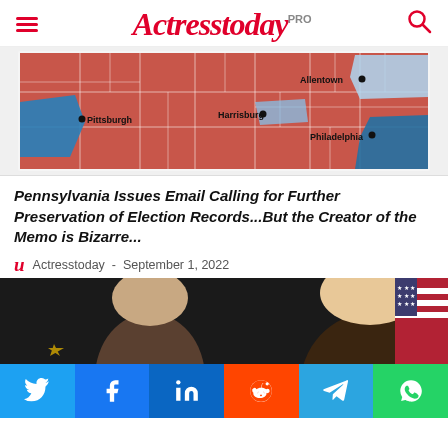Actresstoday PRO
[Figure (map): Pennsylvania county map showing election results, mostly red (Republican) with blue areas around Pittsburgh, Philadelphia, Allentown, and Harrisburg. Cities labeled: Pittsburgh, Harrisburg, Allentown, Philadelphia.]
Pennsylvania Issues Email Calling for Further Preservation of Election Records...But the Creator of the Memo is Bizarre...
Actresstoday - September 1, 2022
[Figure (photo): Photo showing two people, partially cropped, at what appears to be a political event with an American flag visible on the right side.]
Social share buttons: Twitter, Facebook, LinkedIn, Reddit, Telegram, WhatsApp